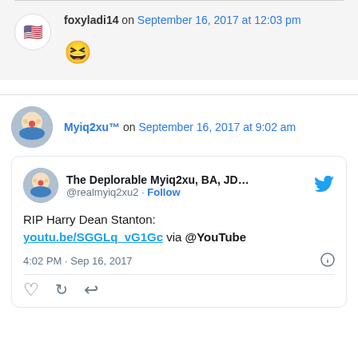foxyladi14 on September 16, 2017 at 12:03 pm
😆
Myiq2xu™ on September 16, 2017 at 9:02 am
[Figure (screenshot): Embedded tweet from @realmyiq2xu2 (The Deplorable Myiq2xu, BA, JD...) saying 'RIP Harry Dean Stanton: youtu.be/SGGLq_vG1Gc via @YouTube', posted at 4:02 PM · Sep 16, 2017]